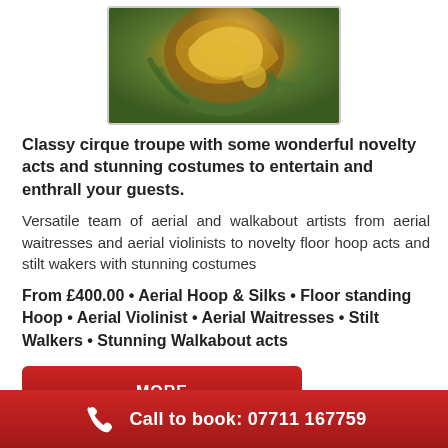[Figure (photo): Close-up photo of a performer in gold and green costume]
Classy cirque troupe with some wonderful novelty acts and stunning costumes to entertain and enthrall your guests.
Versatile team of aerial and walkabout artists from aerial waitresses and aerial violinists to novelty floor hoop acts and stilt wakers with stunning costumes
From £400.00 • Aerial Hoop & Silks • Floor standing Hoop • Aerial Violinist • Aerial Waitresses • Stilt Walkers • Stunning Walkabout acts
MORE
ADD TO ENQUIRY LIST
Call to book: 07711 167759